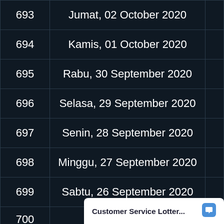| No | Tanggal |  |
| --- | --- | --- |
| 693 | Jumat, 02 October 2020 |  |
| 694 | Kamis, 01 October 2020 |  |
| 695 | Rabu, 30 September 2020 |  |
| 696 | Selasa, 29 September 2020 |  |
| 697 | Senin, 28 September 2020 |  |
| 698 | Minggu, 27 September 2020 |  |
| 699 | Sabtu, 26 September 2020 |  |
| 700 | Jum... |  |
Customer Service Lotter...